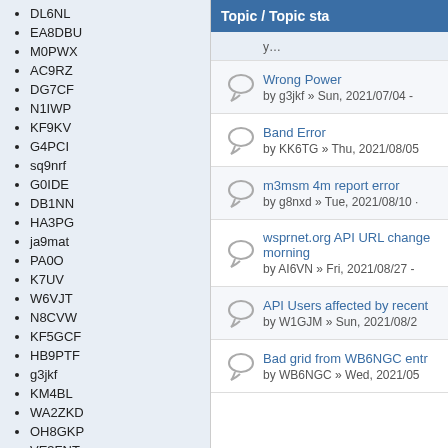DL6NL
EA8DBU
M0PWX
AC9RZ
DG7CF
N1IWP
KF9KV
G4PCI
sq9nrf
G0IDE
DB1NN
HA3PG
ja9mat
PA0O
K7UV
W6VJT
N8CVW
KF5GCF
HB9PTF
g3jkf
KM4BL
WA2ZKD
OH8GKP
VE3FNT
wb5FKC
ZL4JW
Topic / Topic sta
Wrong Power
by g3jkf » Sun, 2021/07/04 -
Band Error
by KK6TG » Thu, 2021/08/05
m3msm 4m report error
by g8nxd » Tue, 2021/08/10 ·
wsprnet.org API URL change morning
by AI6VN » Fri, 2021/08/27 -
API Users affected by recent
by W1GJM » Sun, 2021/08/2
Bad grid from WB6NGC entr
by WB6NGC » Wed, 2021/05